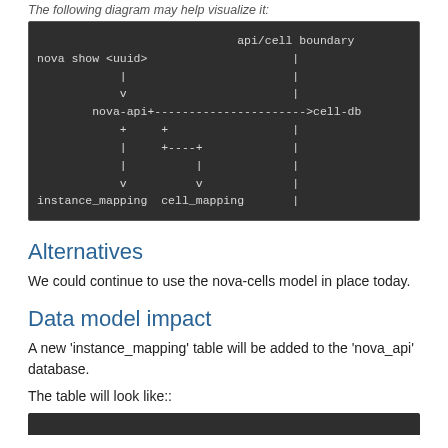The following diagram may help visualize it:
[Figure (other): ASCII diagram showing nova show <uuid> flow through nova-api to instance_mapping and cell_mapping, with api/cell boundary and cell-db on the right]
Alternatives
We could continue to use the nova-cells model in place today.
Data model impact
A new 'instance_mapping' table will be added to the 'nova_api' database.
The table will look like::